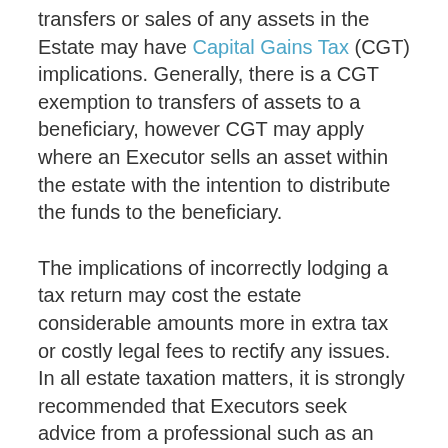transfers or sales of any assets in the Estate may have Capital Gains Tax (CGT) implications. Generally, there is a CGT exemption to transfers of assets to a beneficiary, however CGT may apply where an Executor sells an asset within the estate with the intention to distribute the funds to the beneficiary.
The implications of incorrectly lodging a tax return may cost the estate considerable amounts more in extra tax or costly legal fees to rectify any issues. In all estate taxation matters, it is strongly recommended that Executors seek advice from a professional such as an experienced estate lawyer or chartered accountant.